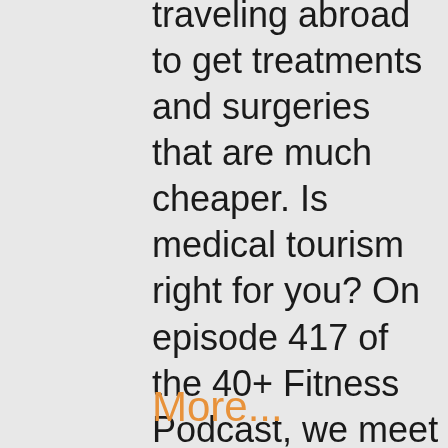traveling abroad to get treatments and surgeries that are much cheaper. Is medical tourism right for you? On episode 417 of the 40+ Fitness Podcast, we meet Janet Bristeir and discuss her book, Medical Tourism: Surgery for Sale.
More...